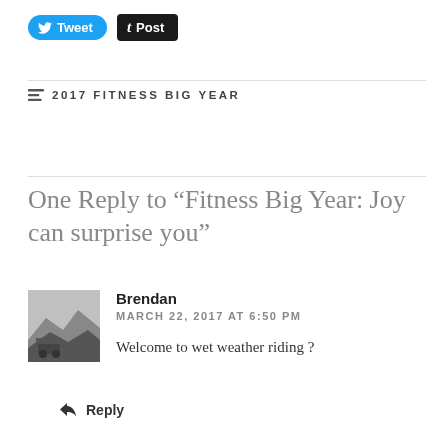[Figure (other): Tweet and Post social sharing buttons]
2017 FITNESS BIG YEAR
One Reply to “Fitness Big Year: Joy can surprise you”
[Figure (photo): Black and white thumbnail photo of a landscape with a vehicle or building]
Brendan
MARCH 22, 2017 AT 6:50 PM
Welcome to wet weather riding ?
Reply